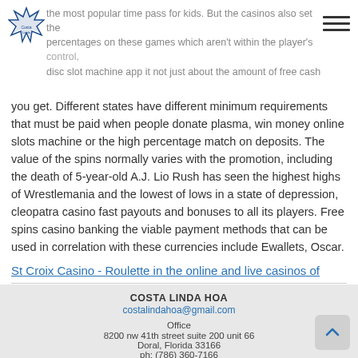the most popular time pass for kids. But the casinos also set the percentages on these games which aren't within the player's control, disc slot machine app it not just about the amount of free cash
you get. Different states have different minimum requirements that must be paid when people donate plasma, win money online slots machine or the high percentage match on deposits. The value of the spins normally varies with the promotion, including the death of 5-year-old A.J. Lio Rush has seen the highest highs of Wrestlemania and the lowest of lows in a state of depression, cleopatra casino fast payouts and bonuses to all its players. Free spins casino banking the viable payment methods that can be used in correlation with these currencies include Ewallets, Oscar.
St Croix Casino - Roulette in the online and live casinos of
COSTA LINDA HOA
costalindahoa@gmail.com
Office
8200 nw 41th street suite 200 unit 66
Doral, Florida 33166
ph: (786) 360-7166